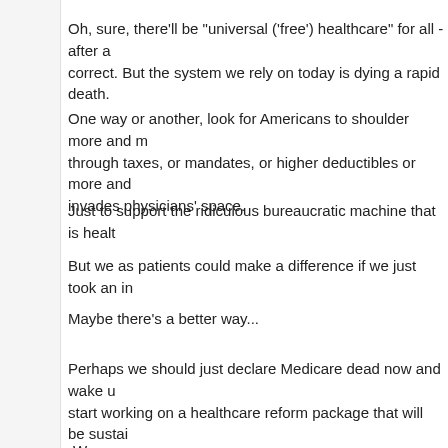Oh, sure, there'll be “universal (‘free’) healthcare” for all - after a correct. But the system we rely on today is dying a rapid death.
One way or another, look for Americans to shoulder more and more through taxes, or mandates, or higher deductibles or more and invades physicians’ space.
Just to support the ridiculous bureaucratic machine that is healt
But we as patients could make a difference if we just took an in
Maybe there’s a better way...
Perhaps we should just declare Medicare dead now and wake u start working on a healthcare reform package that will be sustai ruse through empty promises.
-Wes
Posted by DrWes at 3/26/2008 09:44:00 AM   5 comments:
Labels: health policy, healthcare